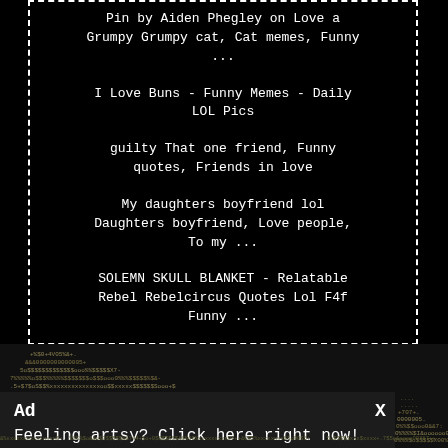Pin by Aiden Phegley on Love a Grumpy Grumpy cat, Cat memes, Funny ...
I Love Buns - Funny Memes - Daily LOL Pics
guilty That one friend, Funny quotes, Friends in love
My daughters boyfriend lol Daughters boyfriend, Love people, To my ...
SOLEMN SKULL BLANKET - Relatable Rebel Rebelcircus Quotes Lol F4f Funny ...
[Figure (screenshot): Ad banner with noise/ASCII art background showing 'Ad' label, 'X' close button, and text 'Feeling artsy? Click here right now!']